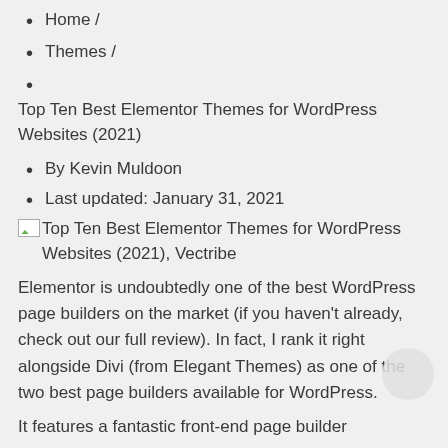Home /
Themes /
Top Ten Best Elementor Themes for WordPress Websites (2021)
By Kevin Muldoon
Last updated: January 31, 2021
[Figure (other): Broken image placeholder for: Top Ten Best Elementor Themes for WordPress Websites (2021), Vectribe]
Elementor is undoubtedly one of the best WordPress page builders on the market (if you haven't already, check out our full review). In fact, I rank it right alongside Divi (from Elegant Themes) as one of the two best page builders available for WordPress.
It features a fantastic front-end page builder